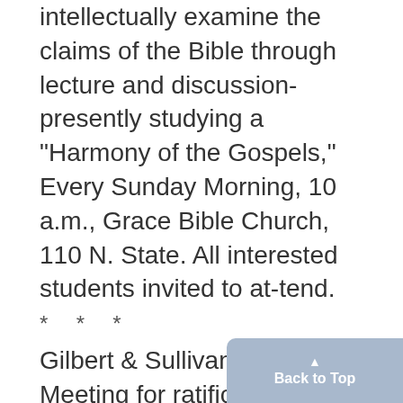intellectually examine the claims of the Bible through lecture and discussion-presently studying a "Harmony of the Gospels," Every Sunday Morning, 10 a.m., Grace Bible Church, 110 N. State. All interested students invited to attend.
* * *
Gilbert & Sullivan Society, Meeting for ratification of constitution, March 3, 8:15 pmm., Union, Rm. 3G. All members urged to attend. Coffee Hour. Michigan Christian Fellowship, March 1, 7:30 p.m., Union. Speaker: Dick Lowe,